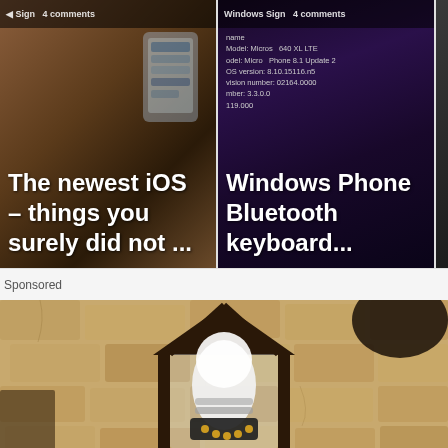[Figure (screenshot): Thumbnail card: 'The newest iOS – things you surely did not ...' with iOS device background image]
[Figure (screenshot): Thumbnail card: 'Windows Phone Bluetooth keyboard...' with Windows Phone settings screen background showing device info: name, model: Microsoft, 640 XL LTE, OS version: 8.10.15116.n5, revision number: 02164.0000, number: 3.3.0.0, 119.000]
Sponsored
[Figure (photo): Close-up photo of a black outdoor wall lantern fixture mounted on a textured stone/stucco wall, with a white light bulb/camera device installed inside the lantern frame.]